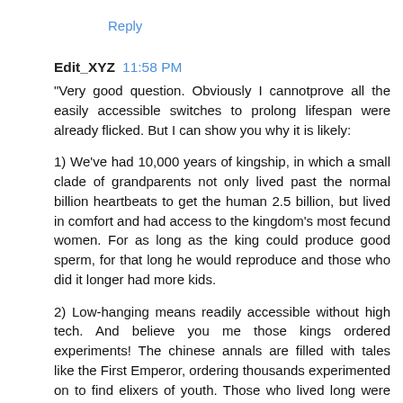Reply
Edit_XYZ  11:58 PM
"Very good question. Obviously I cannotprove all the easily accessible switches to prolong lifespan were already flicked. But I can show you why it is likely:
1) We've had 10,000 years of kingship, in which a small clade of grandparents not only lived past the normal billion heartbeats to get the human 2.5 billion, but lived in comfort and had access to the kingdom's most fecund women. For as long as the king could produce good sperm, for that long he would reproduce and those who did it longer had more kids.
2) Low-hanging means readily accessible without high tech. And believe you me those kings ordered experiments! The chinese annals are filled with tales like the First Emperor, ordering thousands experimented on to find elixers of youth. Those who lived long were interviewed and their diets etc studied. To think this did not happen with